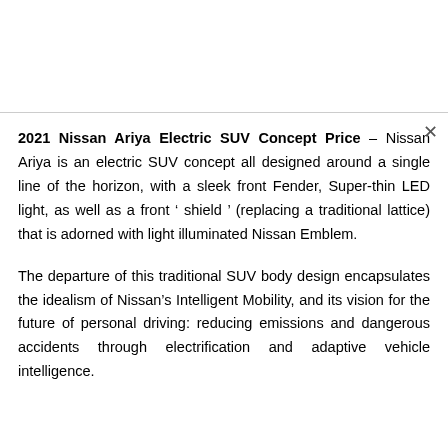2021 Nissan Ariya Electric SUV Concept Price – Nissan Ariya is an electric SUV concept all designed around a single line of the horizon, with a sleek front Fender, Super-thin LED light, as well as a front ' shield ' (replacing a traditional lattice) that is adorned with light illuminated Nissan Emblem.

The departure of this traditional SUV body design encapsulates the idealism of Nissan's Intelligent Mobility, and its vision for the future of personal driving: reducing emissions and dangerous accidents through electrification and adaptive vehicle intelligence.